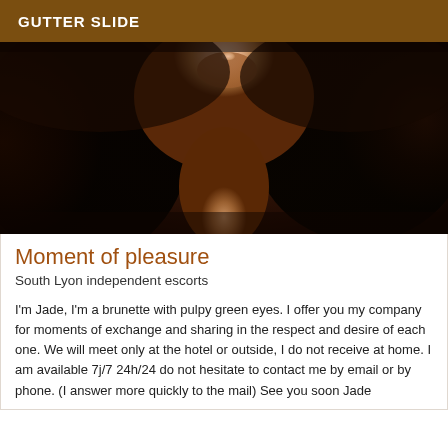GUTTER SLIDE
[Figure (photo): Close-up photo of a dark-haired woman smiling, cropped at neck/shoulders, dark background]
Moment of pleasure
South Lyon independent escorts
I'm Jade, I'm a brunette with pulpy green eyes. I offer you my company for moments of exchange and sharing in the respect and desire of each one. We will meet only at the hotel or outside, I do not receive at home. I am available 7j/7 24h/24 do not hesitate to contact me by email or by phone. (I answer more quickly to the mail) See you soon Jade